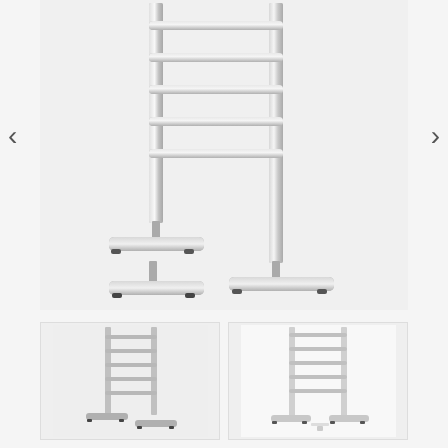[Figure (photo): Close-up product photo of the base/feet section of a freestanding stainless steel towel rack/ladder. Shows two T-shaped metal feet with rubber pads, vertical rails, and horizontal bars. White/light gray background.]
[Figure (photo): Thumbnail image 1: Full view of freestanding stainless steel towel ladder rack showing left side perspective with multiple horizontal bars and T-shaped feet.]
[Figure (photo): Thumbnail image 2: Full view of freestanding stainless steel towel ladder rack showing front/slight angle perspective with multiple horizontal bars and T-shaped feet, white background.]